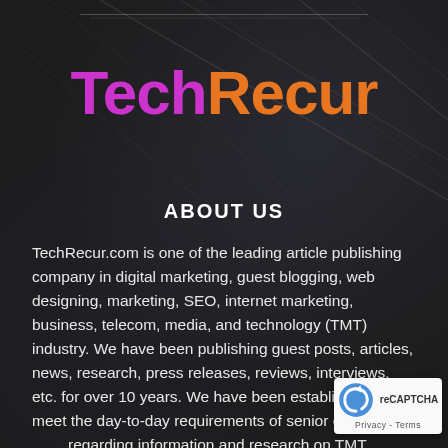TechRecur
ABOUT US
TechRecur.com is one of the leading article publishing company in digital marketing, guest blogging, web designing, marketing, SEO, internet marketing, business, telecom, media, and technology (TMT) industry. We have been publishing guest posts, articles, news, research, press releases, reviews, interviews, etc. for over 10 years. We have been establishing to meet the day-to-day requirements of senior executives regarding information and research on TMT. TechRecur also provides a platform for decision-makers to meet, discuss